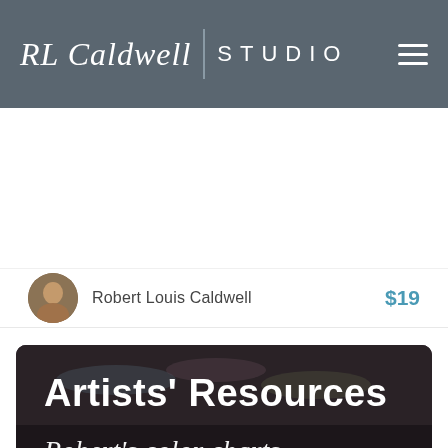RL Caldwell STUDIO
[Figure (photo): Product card with white background — content area above author row]
Robert Louis Caldwell
$19
[Figure (photo): Background photo of artist color charts and paint tubes with dark overlay]
Artists' Resources
Robert's color charts